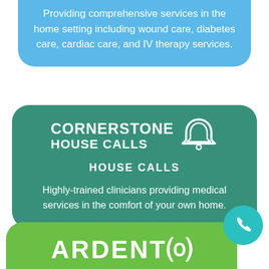Providing comprehensive services in the home setting including wound care, diabetes care, cardiac care, and IV therapy services.
[Figure (logo): Cornerstone House Calls logo with house/bell icon on teal rounded rectangle background, with HOUSE CALLS heading and descriptive text]
HOUSE CALLS
Highly-trained clinicians providing medical services in the comfort of your own home.
[Figure (logo): Ardento logo on green rounded rectangle with teal phone bubble icon]